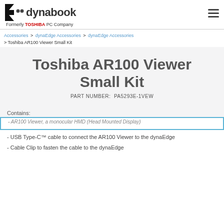dynabook — Formerly TOSHIBA PC Company
Accessories > dynaEdge Accessories > dynaEdge Accessories > Toshiba AR100 Viewer Small Kit
Toshiba AR100 Viewer Small Kit
PART NUMBER:  PA5293E-1VEW
Contains:
- AR100 Viewer, a monocular HMD (Head Mounted Display)
- USB Type-C™ cable to connect the AR100 Viewer to the dynaEdge
- Cable Clip to fasten the cable to the dynaEdge